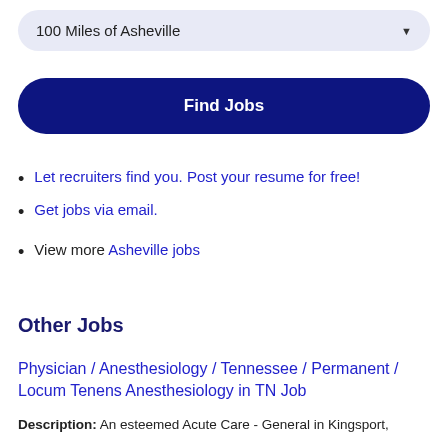100 Miles of Asheville
Find Jobs
Let recruiters find you. Post your resume for free!
Get jobs via email.
View more Asheville jobs
Other Jobs
Physician / Anesthesiology / Tennessee / Permanent / Locum Tenens Anesthesiology in TN Job
Description: An esteemed Acute Care - General in Kingsport,